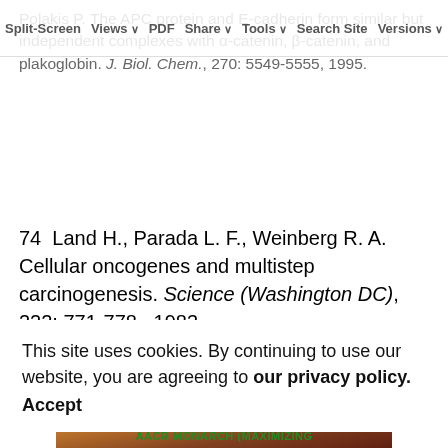Split-Screen | Views | PDF | Share | Tools | Search Site | Versions
Polakis P. The APC protein and E-cadherin form similar but independent complexes with α-catenin, β-catenin, and plakoglobin. J. Biol. Chem., 270: 5549-5555, 1995.
74  Land H., Parada L. F., Weinberg R. A. Cellular oncogenes and multistep carcinogenesis. Science (Washington DC), 222: 771-778,  1983.
©2001 American Association for Cancer Research.
Advertisement
[Figure (photo): Advertisement banner showing monarch butterflies with text 'AACR MONARCH (MAXIMIZING OPPORTUNITY FOR NEW...)']
This site uses cookies. By continuing to use our website, you are agreeing to our privacy policy. Accept